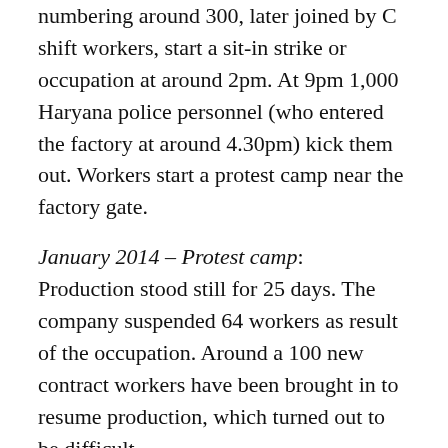numbering around 300, later joined by C shift workers, start a sit-in strike or occupation at around 2pm. At 9pm 1,000 Haryana police personnel (who entered the factory at around 4.30pm) kick them out. Workers start a protest camp near the factory gate.
January 2014 – Protest camp:
Production stood still for 25 days. The company suspended 64 workers as result of the occupation. Around a 100 new contract workers have been brought in to resume production, which turned out to be difficult.
15th of January 2014 – Agreement to take back suspended workers:
An agreement was reached on 15th of January 2014 saying that the suspension decision concerning 49 were taken back and 15 workers will be subjected to an